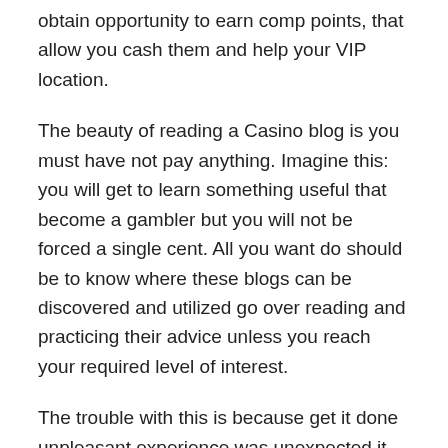obtain opportunity to earn comp points, that allow you cash them and help your VIP location.
The beauty of reading a Casino blog is you must have not pay anything. Imagine this: you will get to learn something useful that become a gambler but you will not be forced a single cent. All you want do should be to know where these blogs can be discovered and utilized go over reading and practicing their advice unless you reach your required level of interest.
The trouble with this is because get it done unpleasant experience was unexpected it just what we focus on. Our minds are created to focus on things that don't meet our expectations. May an important condition which was needed enable our species survive. It allowed us to handle new situations as they developed.
In https://casinostory1.com to this, it is usually a issue to play casino games because it gives you some slack from your